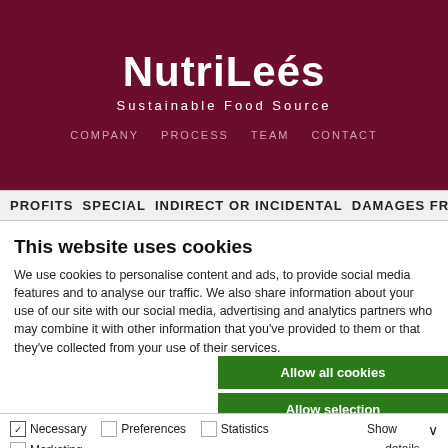[Figure (logo): NutriLees Sustainable Food Source logo on dark red/maroon background with navigation links: COMPANY, PROCESS, TEAM, CONTACT]
PROFITS  SPECIAL  INDIRECT OR INCIDENTAL  DAMAGES FROM
This website uses cookies
We use cookies to personalise content and ads, to provide social media features and to analyse our traffic. We also share information about your use of our site with our social media, advertising and analytics partners who may combine it with other information that you've provided to them or that they've collected from your use of their services.
Allow all cookies
Allow selection
Use necessary cookies only
Necessary  Preferences  Statistics  Marketing  Show details